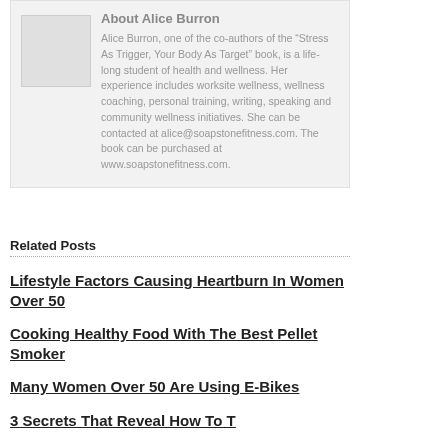About Alice Burron
Alice Burron, one of the co-authors of the “Stress As Trigger, Your Body As Target” book, is a life-long student of health and wellness. Her experience includes worksite wellness, wellness coaching, personal training, writing, speaking and community wellness initiatives. She can be contacted at alice@soapstonefitness.com. The book can be purchased at www.soapstonefitness.com.
Related Posts
Lifestyle Factors Causing Heartburn In Women Over 50
Cooking Healthy Food With The Best Pellet Smoker
Many Women Over 50 Are Using E-Bikes
3 Secrets That Reveal How To T...